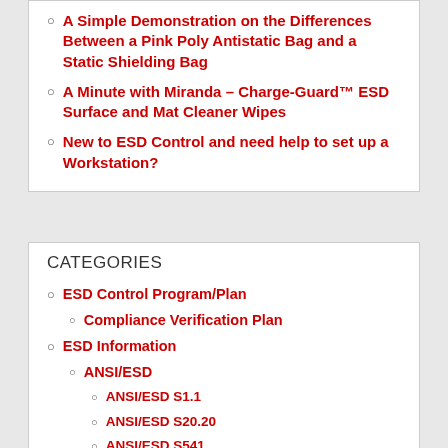A Simple Demonstration on the Differences Between a Pink Poly Antistatic Bag and a Static Shielding Bag
A Minute with Miranda – Charge-Guard™ ESD Surface and Mat Cleaner Wipes
New to ESD Control and need help to set up a Workstation?
CATEGORIES
ESD Control Program/Plan
Compliance Verification Plan
ESD Information
ANSI/ESD
ANSI/ESD S1.1
ANSI/ESD S20.20
ANSI/ESD S541